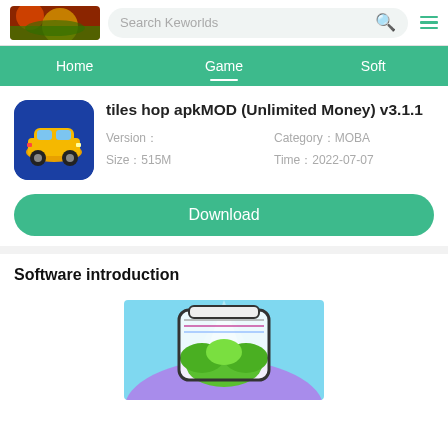Search Keworlds
Home  Game  Soft
tiles hop apkMOD (Unlimited Money) v3.1.1
Version：  Category：MOBA  Size：515M  Time：2022-07-07
Download
Software introduction
[Figure (screenshot): Screenshot of the tiles hop app gameplay showing a colorful piano tiles game screen with a plant-like character]